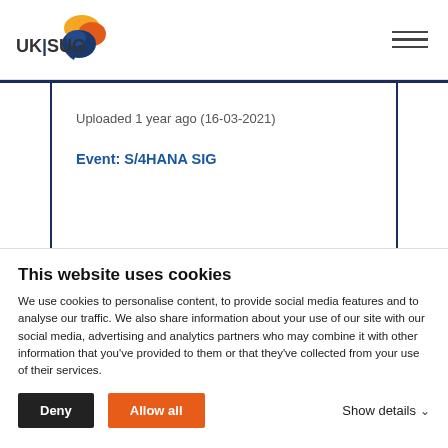UKISUG [logo] [hamburger menu]
Uploaded 1 year ago (16-03-2021)
Event: S/4HANA SIG
This website uses cookies
We use cookies to personalise content, to provide social media features and to analyse our traffic. We also share information about your use of our site with our social media, advertising and analytics partners who may combine it with other information that you've provided to them or that they've collected from your use of their services.
Deny | Allow all | Show details